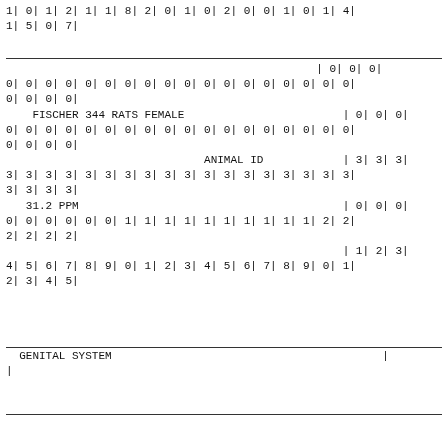1| 0| 1| 2| 1| 1| 8| 2| 0| 1| 0| 2| 0| 0| 1| 0| 1| 4|
1| 5| 0| 7|
| 0| 0| 0|
0| 0| 0| 0| 0| 0| 0| 0| 0| 0| 0| 0| 0| 0| 0| 0| 0| 0|
0| 0| 0| 0|
    FISCHER 344 RATS FEMALE                              | 0| 0| 0|
0| 0| 0| 0| 0| 0| 0| 0| 0| 0| 0| 0| 0| 0| 0| 0| 0| 0|
0| 0| 0| 0|
                                          ANIMAL ID   | 3| 3| 3|
3| 3| 3| 3| 3| 3| 3| 3| 3| 3| 3| 3| 3| 3| 3| 3| 3| 3|
3| 3| 3| 3|
   31.2 PPM                                            | 0| 0| 0|
0| 0| 0| 0| 0| 0| 1| 1| 1| 1| 1| 1| 1| 1| 1| 1| 2| 2|
2| 2| 2| 2|
                                                       | 1| 2| 3|
4| 5| 6| 7| 8| 9| 0| 1| 2| 3| 4| 5| 6| 7| 8| 9| 0| 1|
2| 3| 4| 5|
GENITAL SYSTEM                                        |
|